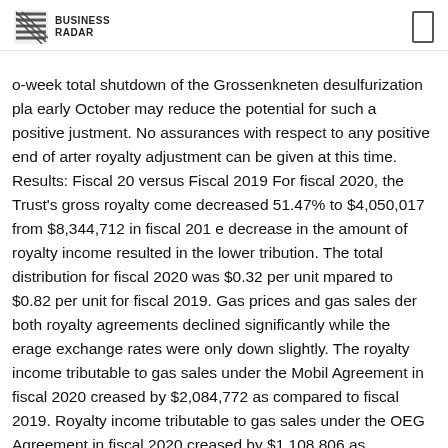BUSINESS RADAR
o-week total shutdown of the Grossenkneten desulfurization pla early October may reduce the potential for such a positive justment. No assurances with respect to any positive end of arter royalty adjustment can be given at this time. Results: Fiscal 20 versus Fiscal 2019 For fiscal 2020, the Trust's gross royalty come decreased 51.47% to $4,050,017 from $8,344,712 in fiscal 201 e decrease in the amount of royalty income resulted in the lower tribution. The total distribution for fiscal 2020 was $0.32 per unit mpared to $0.82 per unit for fiscal 2019. Gas prices and gas sales der both royalty agreements declined significantly while the erage exchange rates were only down slightly. The royalty income tributable to gas sales under the Mobil Agreement in fiscal 2020 creased by $2,084,772 as compared to fiscal 2019. Royalty income tributable to gas sales under the OEG Agreement in fiscal 2020 creased by $1,108,806 as compared to fiscal 2019. As in prior year e Trust receives adjustments from the operating companies base their final calculations of royalties payable during the previous